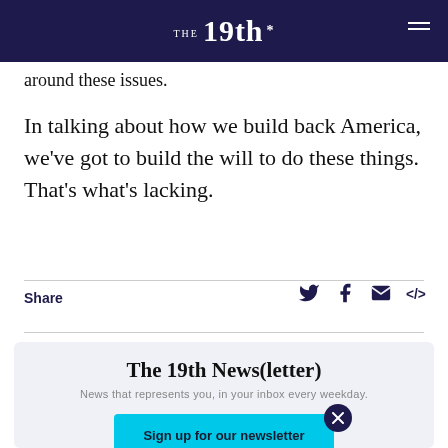THE 19th*
around these issues.
In talking about how we build back America, we've got to build the will to do these things. That's what's lacking.
Share
[Figure (infographic): Social share icons: Twitter, Facebook, Email, Embed]
The 19th News(letter)
News that represents you, in your inbox every weekday.
Sign up for our newsletter